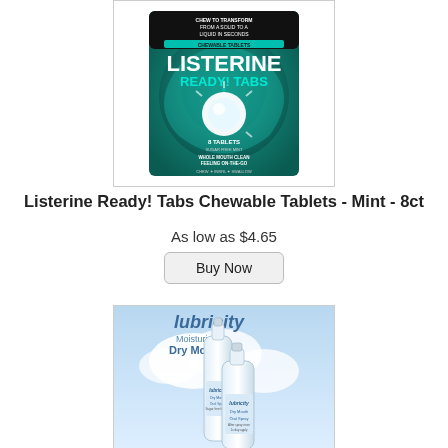[Figure (photo): Listerine Ready! Tabs Chewable Tablets product package - teal/green swirl design with white tablet in center, 8 tablets count]
Listerine Ready! Tabs Chewable Tablets - Mint - 8ct
As low as $4.65
Buy Now
[Figure (photo): Lubricity Dry Mouth Oral Spray product - two white spray bottles on blue sky/clouds background with 'lubricity Moisturizes Dry Mouth' text]